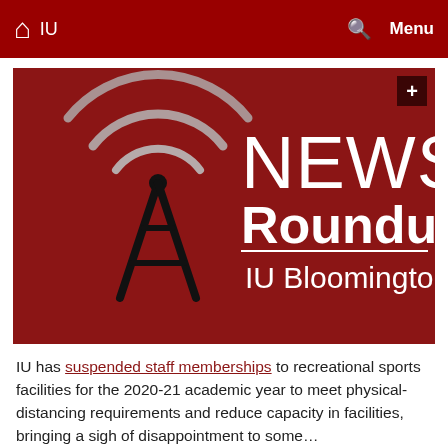IU  Menu
[Figure (logo): NEWS Roundup IU Bloomington banner on dark red background with broadcast tower and signal arc logo]
IU has suspended staff memberships to recreational sports facilities for the 2020-21 academic year to meet physical-distancing requirements and reduce capacity in facilities, bringing a sigh of disappointment to some…